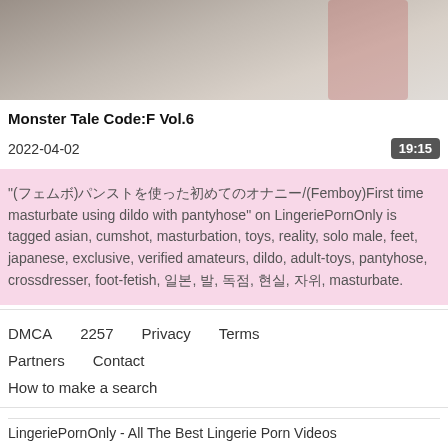[Figure (photo): A person lying on white bedding, wearing red clothing, partial view from above]
Monster Tale Code:F Vol.6
2022-04-02   19:15
"(フェムボ)パンストを使った初めてのオナニー/(Femboy)First time masturbate using dildo with pantyhose" on LingeriePornOnly is tagged asian, cumshot, masturbation, toys, reality, solo male, feet, japanese, exclusive, verified amateurs, dildo, adult-toys, pantyhose, crossdresser, foot-fetish, 일본, 발, 독점, 현실, 자위, masturbate.
DMCA   2257   Privacy   Terms   Partners   Contact   How to make a search
LingeriePornOnly - All The Best Lingerie Porn Videos